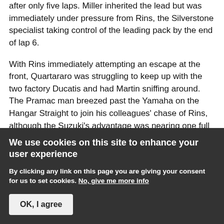after only five laps. Miller inherited the lead but was immediately under pressure from Rins, the Silverstone specialist taking control of the leading pack by the end of lap 6.
With Rins immediately attempting an escape at the front, Quartararo was struggling to keep up with the two factory Ducatis and had Martin sniffing around. The Pramac man breezed past the Yamaha on the Hangar Straight to join his colleagues' chase of Rins, although the Suzuki's advantage was nearing one full second by lap 8. The gap started slowly coming down once Bagnaia picked up the chase, while the exchanges between Miller and Martin allowed Quartararo and the
We use cookies on this site to enhance your user experience
By clicking any link on this page you are giving your consent for us to set cookies. No, give me more info
OK, I agree